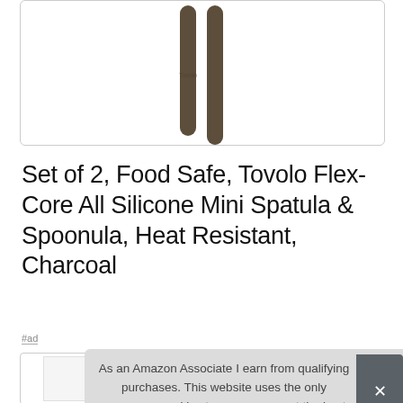[Figure (photo): Two dark charcoal-colored silicone spatula/spoonula utensils standing upright, viewed from above, showing just the handles against a white background, inside a rounded-corner box.]
Set of 2, Food Safe, Tovolo Flex-Core All Silicone Mini Spatula & Spoonula, Heat Resistant, Charcoal
#ad
As an Amazon Associate I earn from qualifying purchases. This website uses the only necessary cookies to ensure you get the best experience on our website. More information